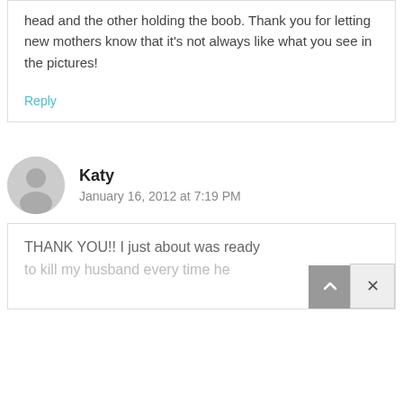head and the other holding the boob. Thank you for letting new mothers know that it's not always like what you see in the pictures!
Reply
Katy
January 16, 2012 at 7:19 PM
THANK YOU!! I just about was ready to kill my husband every time he